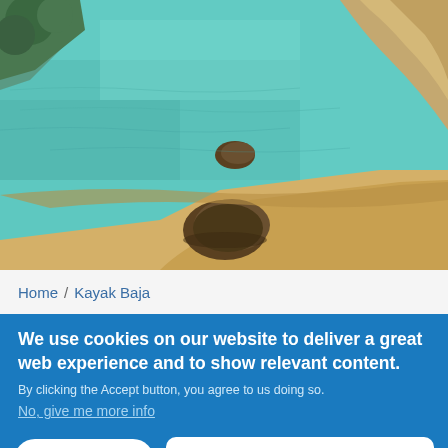[Figure (photo): Aerial view of clear turquoise water with rocks and sandy beach shoreline]
Home / Kayak Baja
We use cookies on our website to deliver a great web experience and to show relevant content.
By clicking the Accept button, you agree to us doing so.
No, give me more info
OK, I agree
Leave a message